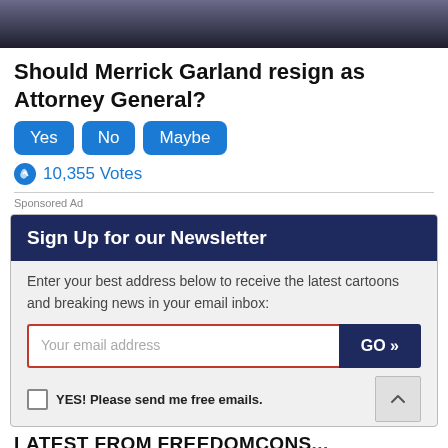[Figure (photo): Partial photo of Merrick Garland in a dark suit and tie, cropped to show only lower face/neck and upper torso]
Should Merrick Garland resign as Attorney General?
Yes  No  Maybe
10,355 Votes
Sponsored Ad
Sign Up for our Newsletter
Enter your best address below to receive the latest cartoons and breaking news in your email inbox:
Your email address
GO »
YES! Please send me free emails.
LATEST FROM FREEDOMCONS...